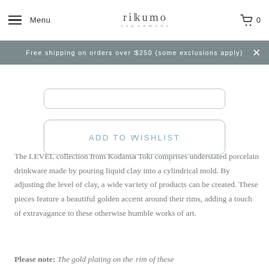Menu | rikumo | 0
Free shipping on orders over $250 (some exclusions apply)
ADD TO WISHLIST
The LEVEL collection from Kodama Toki comprises understated porcelain drinkware made by pouring liquid clay into a cylindrical mold. By adjusting the level of clay, a wide variety of products can be created. These pieces feature a beautiful golden accent around their rims, adding a touch of extravagance to these otherwise humble works of art.
Please note: The gold plating on the rim of these